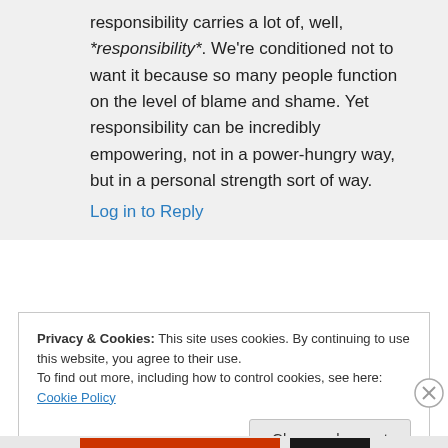responsibility carries a lot of, well, *responsibility*. We're conditioned not to want it because so many people function on the level of blame and shame. Yet responsibility can be incredibly empowering, not in a power-hungry way, but in a personal strength sort of way.
Log in to Reply
Privacy & Cookies: This site uses cookies. By continuing to use this website, you agree to their use. To find out more, including how to control cookies, see here: Cookie Policy
Close and accept